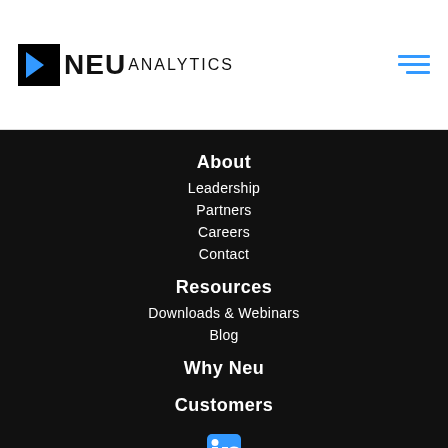NEU ANALYTICS
About
Leadership
Partners
Careers
Contact
Resources
Downloads & Webinars
Blog
Why Neu
Customers
[Figure (logo): LinkedIn icon in blue]